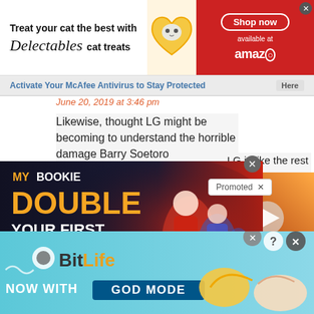[Figure (screenshot): Delectables cat treats advertisement banner: 'Treat your cat the best with Delectables cat treats', Shop now button, available at Amazon, with cat image and product images on red background]
Activate Your McAfee Antivirus to Stay Protected
June 20, 2019 at 3:46 pm
Likewise, thought LG might be becoming to understand the horrible damage Barry Soetoro ... LG is like the rest ... s, and We The ... t ...
[Figure (screenshot): MyBookie advertisement: MY BOOKIE - DOUBLE YOUR FIRST DEPOSIT, with soccer players in background]
Promoted ×
[Figure (screenshot): Video thumbnail with play button, orange/fire background]
[Figure (screenshot): BitLife advertisement banner: BitLife - NOW WITH GOD MODE, with pointing hand graphics on light blue background]